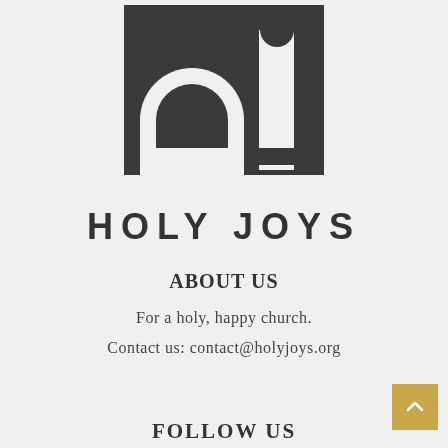[Figure (logo): Holy Joys logo: a dark square icon showing a church dome/arch graphic with a cross, above the text HOLY JOYS in bold spaced sans-serif lettering]
ABOUT US
For a holy, happy church.
Contact us: contact@holyjoys.org
FOLLOW US